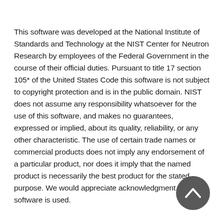This software was developed at the National Institute of Standards and Technology at the NIST Center for Neutron Research by employees of the Federal Government in the course of their official duties. Pursuant to title 17 section 105* of the United States Code this software is not subject to copyright protection and is in the public domain. NIST does not assume any responsibility whatsoever for the use of this software, and makes no guarantees, expressed or implied, about its quality, reliability, or any other characteristic. The use of certain trade names or commercial products does not imply any endorsement of a particular product, nor does it imply that the named product is necessarily the best product for the stated purpose. We would appreciate acknowledgment if the software is used.
[Figure (other): A dark grey circular button with an upward-pointing chevron/arrow icon in white, used as a scroll-to-top navigation button.]